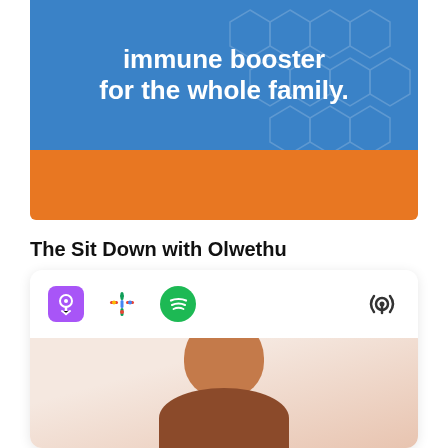[Figure (infographic): Advertisement banner with blue background and honeycomb pattern showing text 'immune booster for the whole family.' with orange bar below]
The Sit Down with Olwethu
[Figure (infographic): Podcast card with Apple Podcasts, Google Podcasts, Spotify icons and a generic podcast icon, with a person photo at the bottom]